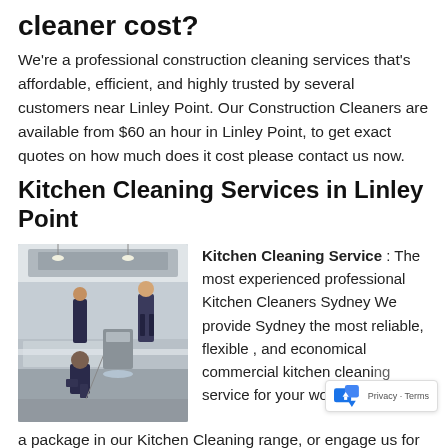cleaner cost?
We're a professional construction cleaning services that's affordable, efficient, and highly trusted by several customers near Linley Point. Our Construction Cleaners are available from $60 an hour in Linley Point, to get exact quotes on how much does it cost please contact us now.
Kitchen Cleaning Services in Linley Point
[Figure (photo): Workers cleaning a commercial kitchen with stainless steel equipment]
Kitchen Cleaning Service : The most experienced professional Kitchen Cleaners Sydney We provide Sydney the most reliable, flexible , and economical commercial kitchen cleaning service for your workplace.
a package in our Kitchen Cleaning range, or engage us for